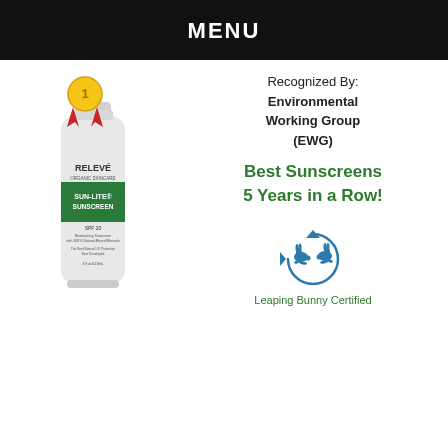MENU
[Figure (photo): Relevé Organic Skincare Sun-Lite Sunscreen bottle with gold award medal ribbon on top]
Recognized By: Environmental Working Group (EWG)
Best Sunscreens 5 Years in a Row!
[Figure (logo): Leaping Bunny Certified logo - two rabbits in circular arrow shape]
Leaping Bunny Certified